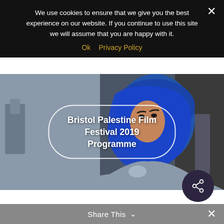We use cookies to ensure that we give you the best experience on our website. If you continue to use this site we will assume that you are happy with it.
Ok   Privacy Policy
[Figure (photo): Hero banner showing a young woman wearing a blue hijab, used as background for the Bristol Palestine Film Festival 2019 Programme title]
Bristol Palestine Film Festival 2019 Programme
[Figure (other): Dark circular share button with share icon (network/share symbol)]
Share This ∨